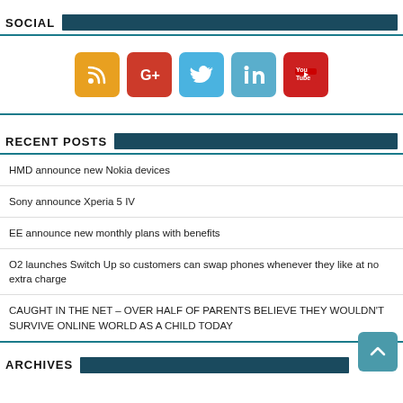SOCIAL
[Figure (infographic): Social media icons: RSS (orange), Google+ (red), Twitter (light blue), LinkedIn (teal), YouTube (red)]
RECENT POSTS
HMD announce new Nokia devices
Sony announce Xperia 5 IV
EE announce new monthly plans with benefits
O2 launches Switch Up so customers can swap phones whenever they like at no extra charge
CAUGHT IN THE NET – OVER HALF OF PARENTS BELIEVE THEY WOULDN'T SURVIVE ONLINE WORLD AS A CHILD TODAY
ARCHIVES